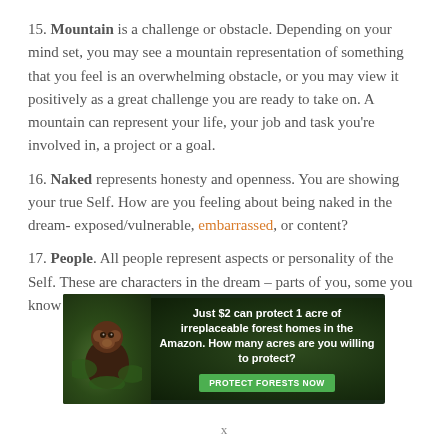15. Mountain is a challenge or obstacle. Depending on your mind set, you may see a mountain representation of something that you feel is an overwhelming obstacle, or you may view it positively as a great challenge you are ready to take on. A mountain can represent your life, your job and task you’re involved in, a project or a goal.
16. Naked represents honesty and openness. You are showing your true Self. How are you feeling about being naked in the dream- exposed/vulnerable, embarrassed, or content?
17. People. All people represent aspects or personality of the Self. These are characters in the dream – parts of you, some you know and some you don’t know. Some you don’t like and
[Figure (infographic): Advertisement banner for forest protection charity. Text reads: Just $2 can protect 1 acre of irreplaceable forest homes in the Amazon. How many acres are you willing to protect? Button: PROTECT FORESTS NOW]
x